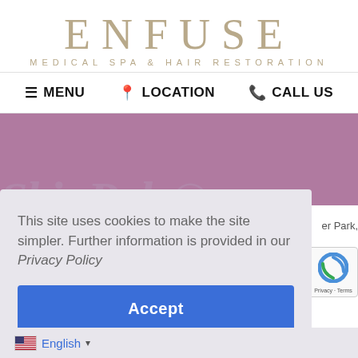[Figure (logo): ENFUSE Medical Spa & Hair Restoration logo with stylized serif text in tan/gold color]
☰ MENU   📍 LOCATION   📞 CALL US
[Figure (photo): Purple/mauve banner background with faint italic watermark text 'SkinPoly R']
This site uses cookies to make the site simpler. Further information is provided in our Privacy Policy
Accept
er Park,
[Figure (other): reCAPTCHA widget partially visible on right side. Privacy - Terms text below.]
🇺🇸 English ▾